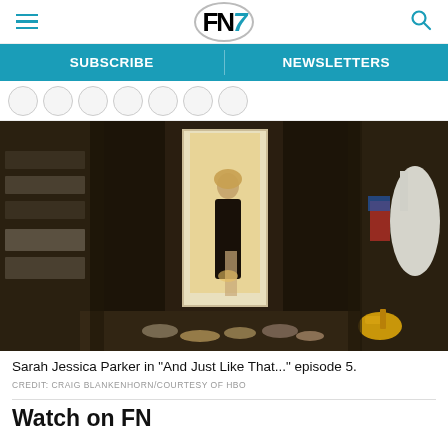FN7 — SUBSCRIBE | NEWSLETTERS
[Figure (photo): Sarah Jessica Parker standing in a walk-in closet filled with shoes and clothing, wearing a dark gown, in a scene from And Just Like That episode 5. Gold high heels visible in foreground.]
Sarah Jessica Parker in "And Just Like That..." episode 5.
CREDIT: CRAIG BLANKENHORN/COURTESY OF HBO
Watch on FN